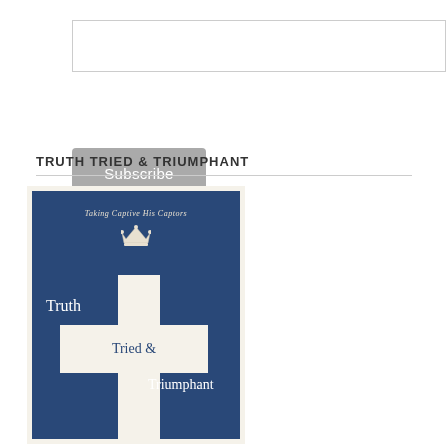[input box / subscribe form]
TRUTH TRIED & TRIUMPHANT
[Figure (illustration): Book cover for 'Truth Tried & Triumphant: Taking Captive His Captors'. Dark navy blue background with a cross shape formed by cream/white rectangular blocks. The title words 'Truth', 'Tried &', and 'Triumphant' appear on and around the cross. A small crown illustration is centered near the top. The subtitle 'Taking Captive His Captors' appears in small italic text near the top.]